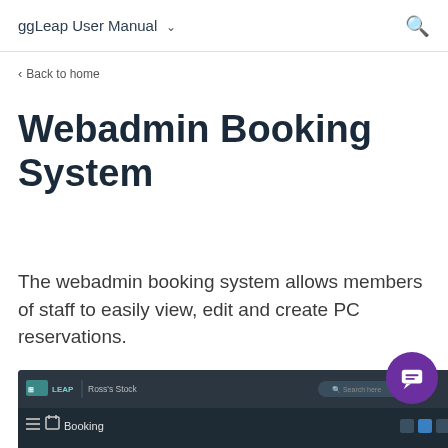ggLeap User Manual
< Back to home
Webadmin Booking System
The webadmin booking system allows members of staff to easily view, edit and create PC reservations.
[Figure (screenshot): Screenshot of the ggLeap webadmin interface showing the Booking section with a dark-themed navigation bar displaying LEAP logo, Ross's Stock tab, a search bar, and a Booking menu item.]